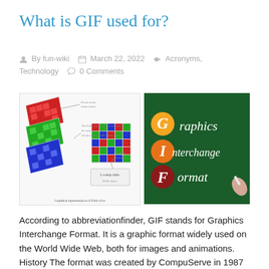What is GIF used for?
By fun-wiki   March 22, 2022   Acronyms, Technology   0 Comments
[Figure (illustration): Graphical representation of 8-bit color showing layered RGB pixel buffers and lookup tables]
[Figure (photo): Chalkboard with GIF acronym: G=Graphics (orange circle), I=Interchange (orange circle), F=Format (red circle), with a hand writing]
According to abbreviationfinder, GIF stands for Graphics Interchange Format. It is a graphic format widely used on the World Wide Web, both for images and animations. History The format was created by CompuServe in 1987 to provide a color image format...